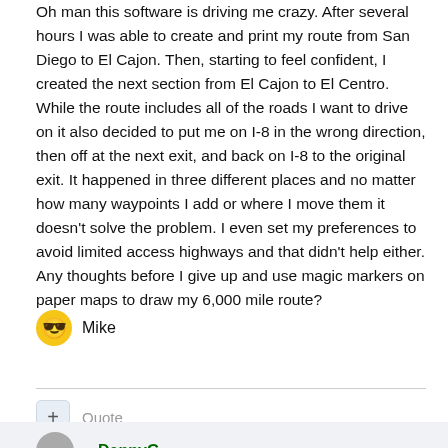Oh man this software is driving me crazy. After several hours I was able to create and print my route from San Diego to El Cajon. Then, starting to feel confident, I created the next section from El Cajon to El Centro. While the route includes all of the roads I want to drive on it also decided to put me on I-8 in the wrong direction, then off at the next exit, and back on I-8 to the original exit. It happened in three different places and no matter how many waypoints I add or where I move them it doesn't solve the problem. I even set my preferences to avoid limited access highways and that didn't help either. Any thoughts before I give up and use magic markers on paper maps to draw my 6,000 mile route?
Mike
Quote
DennyG